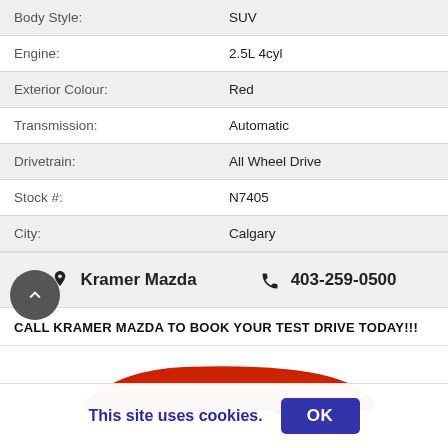| Field | Value |
| --- | --- |
| Body Style: | SUV |
| Engine: | 2.5L 4cyl |
| Exterior Colour: | Red |
| Transmission: | Automatic |
| Drivetrain: | All Wheel Drive |
| Stock #: | N7405 |
| City: | Calgary |
Kramer Mazda   403-259-0500
CALL KRAMER MAZDA TO BOOK YOUR TEST DRIVE TODAY!!!
[Figure (photo): Partial view of a red SUV (Mazda) visible at the bottom of the page]
This site uses cookies.